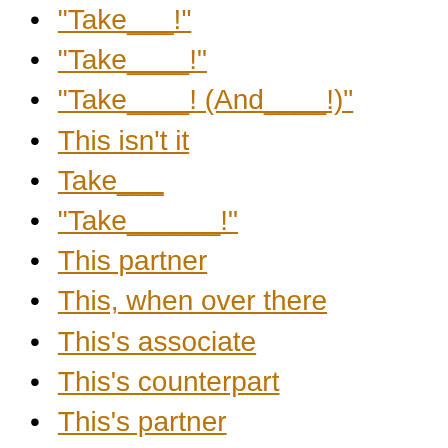"Take___!"
"Take____!"
"Take____! (And____!)"
This isn't it
Take___
"Take______!"
This partner
This, when over there
This's associate
This's counterpart
This's partner
What Dick Martin always drinks to
"What does__ mean?"